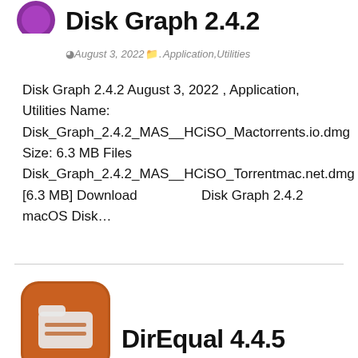[Figure (logo): Purple circular logo/icon for Disk Graph app, partially visible at top left]
Disk Graph 2.4.2
August 3, 2022  .Application,Utilities
Disk Graph 2.4.2 August 3, 2022 , Application, Utilities Name: Disk_Graph_2.4.2_MAS__HCiSO_Mactorrents.io.dmg Size: 6.3 MB Files Disk_Graph_2.4.2_MAS__HCiSO_Torrentmac.net.dmg [6.3 MB] Download                Disk Graph 2.4.2 macOS Disk…
[Figure (logo): Brown/orange rounded square app icon for DirEqual with a folder/document symbol]
DirEqual 4.4.5